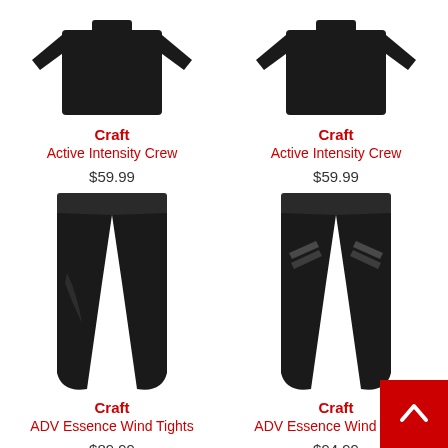[Figure (photo): Black long-sleeve Craft Active Intensity Crew top, front view]
Craft
Active Intensity Crew
$59.99
[Figure (photo): Black long-sleeve Craft Active Intensity Crew top, front view]
Craft
Active Intensity Crew
$59.99
[Figure (photo): Black Craft ADV Essence Wind Tights, front view]
Craft
ADV Essence Wind Tights
$89.99
[Figure (photo): Black Craft ADV Essence Wind Tights with reflective details, front view]
Craft
ADV Essence Wind Tights
$94.99